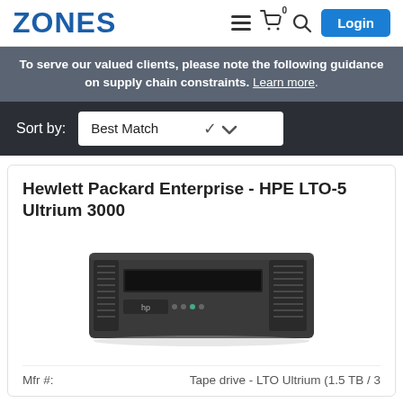ZONES
To serve our valued clients, please note the following guidance on supply chain constraints. Learn more.
Sort by: Best Match
Hewlett Packard Enterprise - HPE LTO-5 Ultrium 3000
[Figure (photo): Photo of HPE LTO-5 Ultrium 3000 tape drive, a black rectangular device with front panel showing tape slot and controls]
Mfr #:	Tape drive - LTO Ultrium (1.5 TB / 3